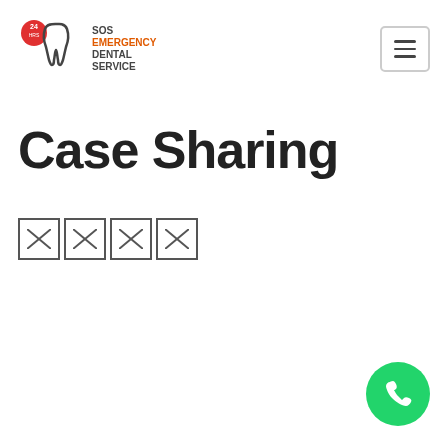[Figure (logo): SOS Emergency Dental Service logo with 24hrs badge and tooth icon, with text SOS EMERGENCY DENTAL SERVICE]
[Figure (other): Hamburger menu button (three horizontal lines in a rounded rectangle border)]
Case Sharing
[Figure (other): Four broken image placeholder icons in a row]
[Figure (other): Green circular phone/call floating action button in bottom right corner]